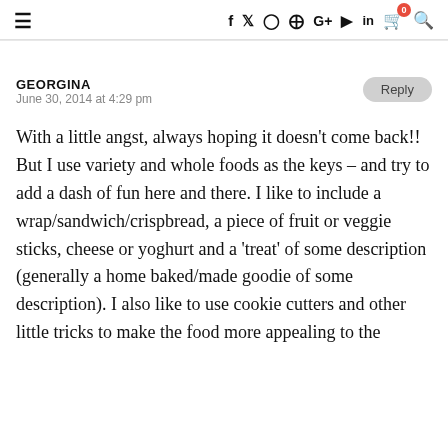≡  f  🐦  ○  ⊕  G+  ▶  in  🛒⁰  🔍
GEORGINA
June 30, 2014 at 4:29 pm
With a little angst, always hoping it doesn't come back!! But I use variety and whole foods as the keys – and try to add a dash of fun here and there. I like to include a wrap/sandwich/crispbread, a piece of fruit or veggie sticks, cheese or yoghurt and a 'treat' of some description (generally a home baked/made goodie of some description). I also like to use cookie cutters and other little tricks to make the food more appealing to the